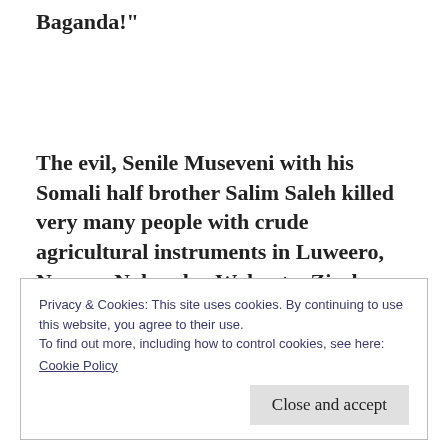Baganda!"
The evil, Senile Museveni with his Somali half brother Salim Saleh killed very many people with crude agricultural instruments in Luweero, Ngoma, Nakaseke, Wakyato, Zirobwe, Kirema and so many others. Why?
Privacy & Cookies: This site uses cookies. By continuing to use this website, you agree to their use.
To find out more, including how to control cookies, see here:
Cookie Policy
Close and accept